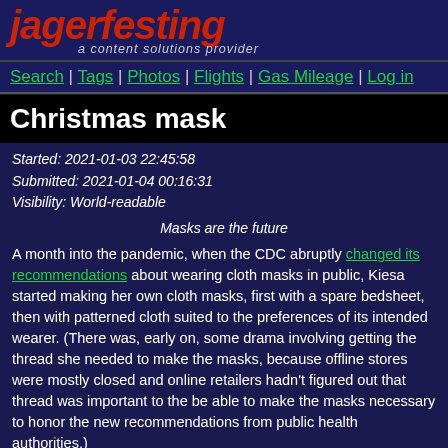jagerfesting — a content solutions provider
Search | Tags | Photos | Flights | Gas Mileage | Log in
Christmas mask
Started: 2021-01-03 22:45:58
Submitted: 2021-01-04 00:16:31
Visibility: World-readable
Masks are the future
A month into the pandemic, when the CDC abruptly changed its recommendations about wearing cloth masks in public, Kiesa started making her own cloth masks, first with a spare bedsheet, then with patterned cloth suited to the preferences of its intended wearer. (There was, early on, some drama involving getting the thread she needed to make the masks, because offline stores were mostly closed and online retailers hadn't figured out that thread was important to the be able to make the masks necessary to honor the new recommendations from public health authorities.)
While she was looking at fabric online, Kiesa stumbled upon